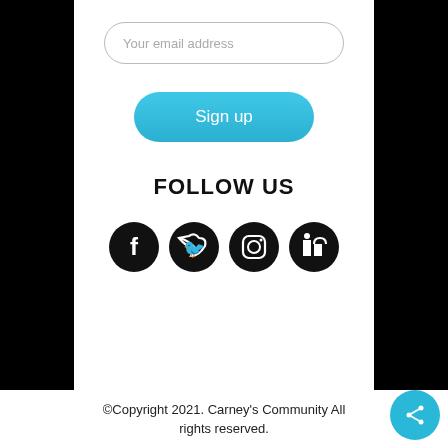Your email address
Sign up
FOLLOW US
[Figure (illustration): Four social media icons: Facebook, Twitter, Instagram, LinkedIn — all black circles with white logos]
©Copyright 2021. Carney's Community All rights reserved.